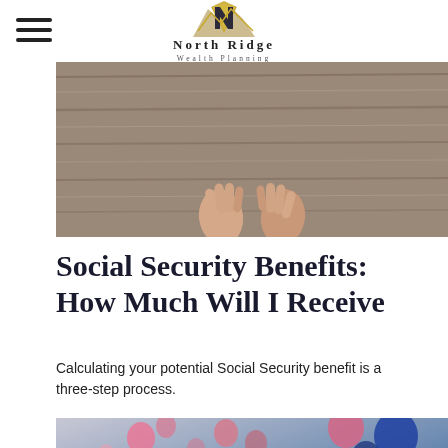North Ridge Wealth Planning
[Figure (photo): Close-up of two hands resting on a weathered wooden surface, viewed from above, with wood grain texture background.]
Social Security Benefits: How Much Will I Receive
Calculating your potential Social Security benefit is a three-step process.
[Figure (photo): Colorful balloons floating against a blue-gray gradient sky background, with pink, blue, dark navy, and teal balloons of various sizes.]